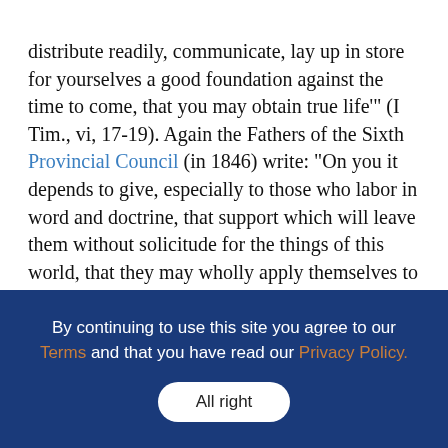distribute readily, communicate, lay up in store for yourselves a good foundation against the time to come, that you may obtain true life'" (I Tim., vi, 17-19). Again the Fathers of the Sixth Provincial Council (in 1846) write: "On you it depends to give, especially to those who labor in word and doctrine, that support which will leave them without solicitude for the things of this world, that they may wholly apply themselves to the exercise of the holy ministry. We beseech you, brethren, to know them who labor among you, and are over you in the Lord, and admonish you, that you may esteem them more abundantly in charity for their work's sake. To you we look for means to educate youth for the ecclesiastical state, that when fully
By continuing to use this site you agree to our Terms and that you have read our Privacy Policy.
All right